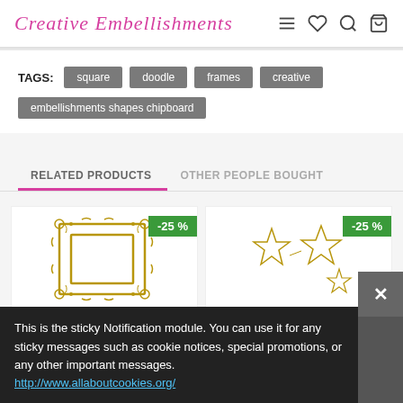Creative Embellishments
TAGS: square doodle frames creative embellishments shapes chipboard
RELATED PRODUCTS | OTHER PEOPLE BOUGHT
[Figure (photo): Product image of ornate square chipboard frame with -25% discount badge]
[Figure (photo): Product image of star-shaped chipboard embellishments with -25% discount badge]
This is the sticky Notification module. You can use it for any sticky messages such as cookie notices, special promotions, or any other important messages. http://www.allaboutcookies.org/